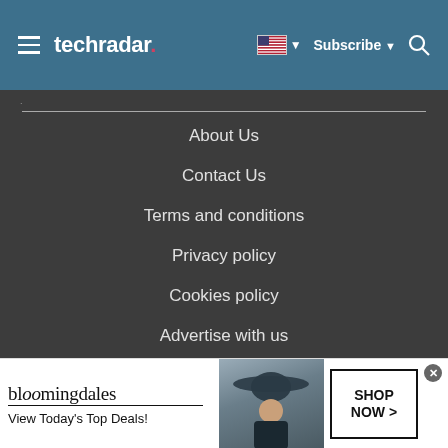techradar
About Us
Contact Us
Terms and conditions
Privacy policy
Cookies policy
Advertise with us
[Figure (illustration): Bloomingdale's advertisement banner: 'View Today's Top Deals!' with SHOP NOW button and woman wearing wide-brim hat]